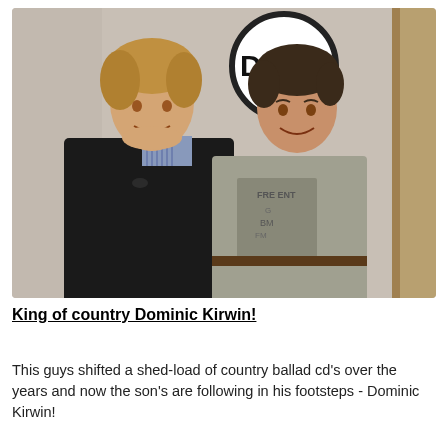[Figure (photo): Two men posing together indoors in front of a DTR Radio studio sign. The man on the left wears a black blazer over a striped shirt and has medium-length blonde hair. The man on the right wears a grey graphic t-shirt and has dark hair. Both are smiling at the camera.]
King of country Dominic Kirwin!
This guys shifted a shed-load of country ballad cd's over the years and now the son's are following in his footsteps - Dominic Kirwin!